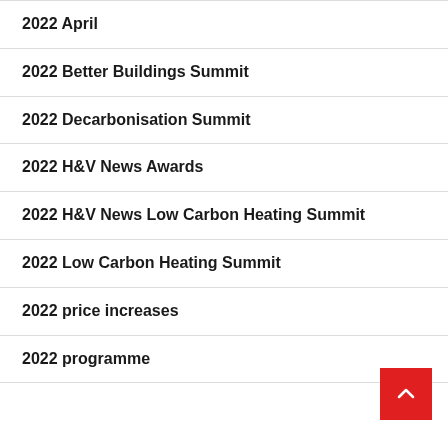2022 April
2022 Better Buildings Summit
2022 Decarbonisation Summit
2022 H&V News Awards
2022 H&V News Low Carbon Heating Summit
2022 Low Carbon Heating Summit
2022 price increases
2022 programme